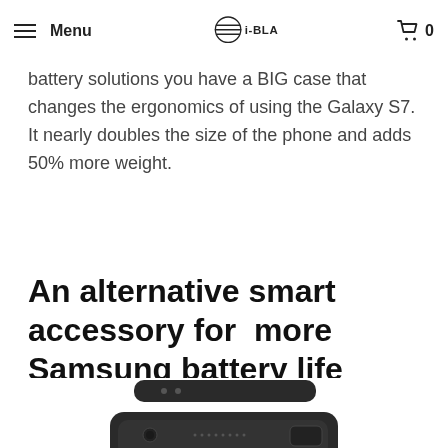Menu | i-BLADES | 0
Samsung has examined the two battery cases for the S7 edge. With their expertise in battery solutions you have a BIG case that changes the ergonomics of using the Galaxy S7. It nearly doubles the size of the phone and adds 50% more weight.
An alternative smart accessory for  more Samsung battery life
[Figure (photo): Bottom portion of a Samsung Galaxy S7 smartphone being placed into or separated from an i-BLADES smart accessory/battery blade module, shown against a white background]